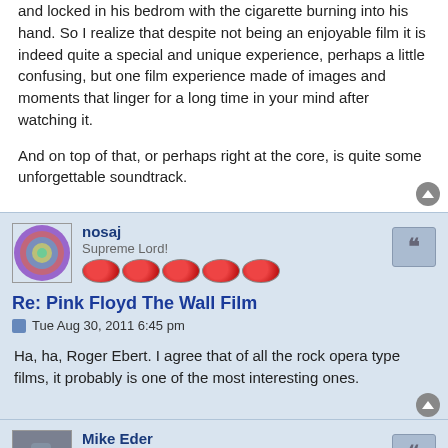and locked in his bedrom with the cigarette burning into his hand. So I realize that despite not being an enjoyable film it is indeed quite a special and unique experience, perhaps a little confusing, but one film experience made of images and moments that linger for a long time in your mind after watching it.
And on top of that, or perhaps right at the core, is quite some unforgettable soundtrack.
nosaj
Supreme Lord!
Re: Pink Floyd The Wall Film
Tue Aug 30, 2011 6:45 pm
Ha, ha, Roger Ebert. I agree that of all the rock opera type films, it probably is one of the most interesting ones.
Mike Eder
Axe
Re: Pink Floyd The Wall Film
Sun Jan 08, 2012 9:23 am